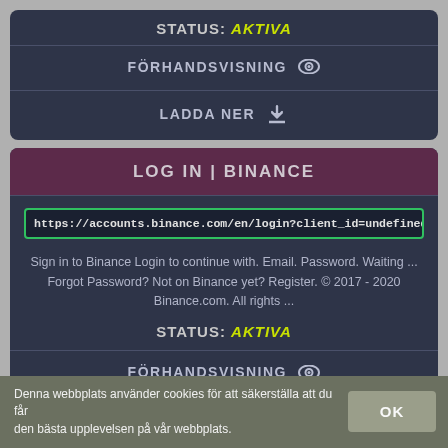STATUS: AKTIVA
FÖRHANDSVISNING
LADDA NER
LOG IN | BINANCE
https://accounts.binance.com/en/login?client_id=undefined&return_to=
Sign in to Binance Login to continue with. Email. Password. Waiting ... Forgot Password? Not on Binance yet? Register. © 2017 - 2020 Binance.com. All rights ...
STATUS: AKTIVA
FÖRHANDSVISNING
Denna webbplats använder cookies för att säkerställa att du får den bästa upplevelsen på vår webbplats.